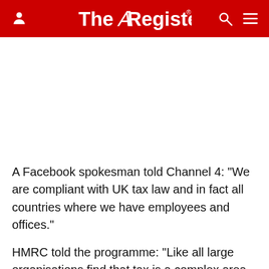The Register
A Facebook spokesman told Channel 4: "We are compliant with UK tax law and in fact all countries where we have employees and offices."
HMRC told the programme: "Like all large organisations find that tax is a complex area of the...